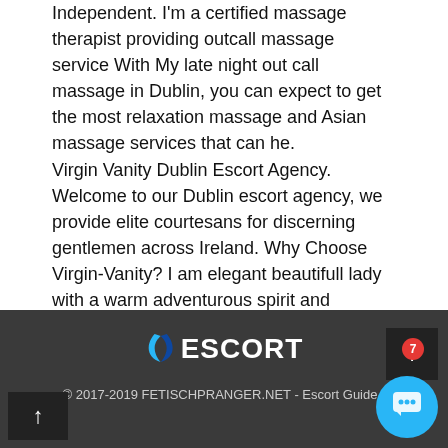Independent. I'm a certified massage therapist providing outcall massage service With My late night out call massage in Dublin, you can expect to get the most relaxation massage and Asian massage services that can he. Virgin Vanity Dublin Escort Agency. Welcome to our Dublin escort agency, we provide elite courtesans for discerning gentlemen across Ireland. Why Choose Virgin-Vanity? I am elegant beautifull lady with a warm adventurous spirit and irresistable smile. Open minded,sensual and hight educated supreme level escort. For dinner dates,cultural outings and for your private moment of pleasure.
© 2017-2019 FETISCHPRANGER.NET - Escort Guide